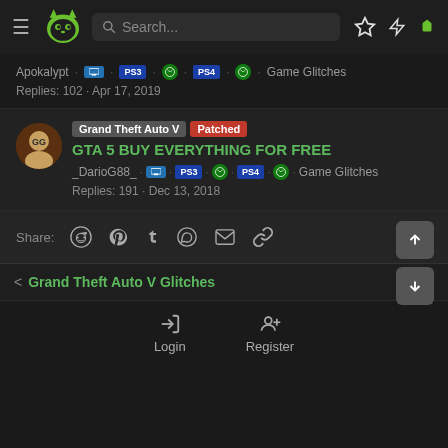Search...
Apokalypt · PC · PS3 · Xbox · PS4 · Xbox · Game Glitches
Replies: 102 · Apr 17, 2019
Grand Theft Auto V [Patched] GTA 5 BUY EVERYTHING FOR FREE
_DarioG88_ · PC · PS3 · Xbox · PS4 · Xbox · Game Glitches
Replies: 191 · Dec 13, 2018
Share:
Grand Theft Auto V Glitches
Login    Register